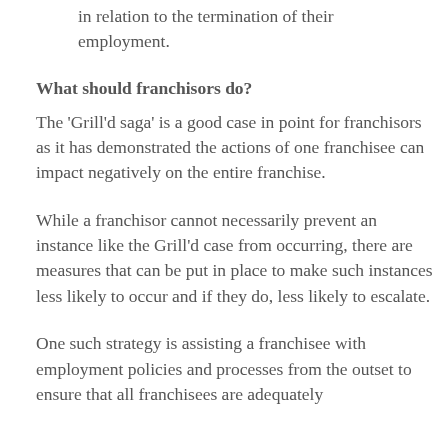in relation to the termination of their employment.
What should franchisors do?
The 'Grill'd saga' is a good case in point for franchisors as it has demonstrated the actions of one franchisee can impact negatively on the entire franchise.
While a franchisor cannot necessarily prevent an instance like the Grill'd case from occurring, there are measures that can be put in place to make such instances less likely to occur and if they do, less likely to escalate.
One such strategy is assisting a franchisee with employment policies and processes from the outset to ensure that all franchisees are adequately